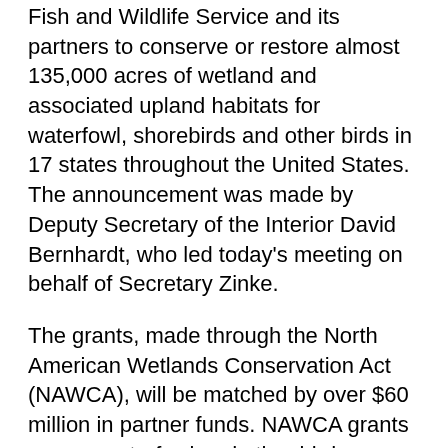Fish and Wildlife Service and its partners to conserve or restore almost 135,000 acres of wetland and associated upland habitats for waterfowl, shorebirds and other birds in 17 states throughout the United States. The announcement was made by Deputy Secretary of the Interior David Bernhardt, who led today's meeting on behalf of Secretary Zinke.
The grants, made through the North American Wetlands Conservation Act (NAWCA), will be matched by over $60 million in partner funds. NAWCA grants ensure waterfowl and other birds are protected throughout their lifecycles.
“These projects provide tens of thousands of acres of hunting, fishing and recreational